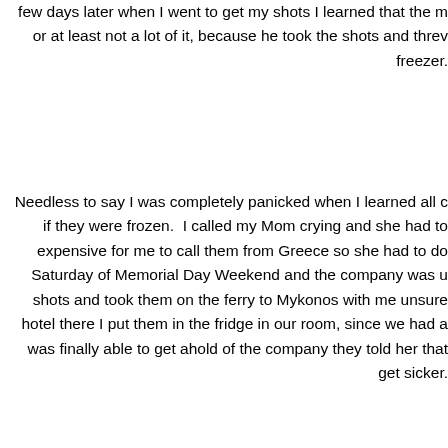few days later when I went to get my shots I learned that the m or at least not a lot of it, because he took the shots and thre freezer.
Needless to say I was completely panicked when I learned all if they were frozen. I called my Mom crying and she had to expensive for me to call them from Greece so she had to do Saturday of Memorial Day Weekend and the company was u shots and took them on the ferry to Mykonos with me unsure hotel there I put them in the fridge in our room, since we had a was finally able to get ahold of the company they told her that get sicker.
My parents tried everything they could and there was no way to get the shots in Greece. This is a very serious medicatio problems. I needed to get the medication as soon as possible of work on my Mom's end, lots of discussions with my doctors had to come home. I had to go a week past the date of my sh that I had recently been having some issues with losing weight I knew that if I did not come home I was going to land up in th parents arranged everything and on Tuesday I woke up...